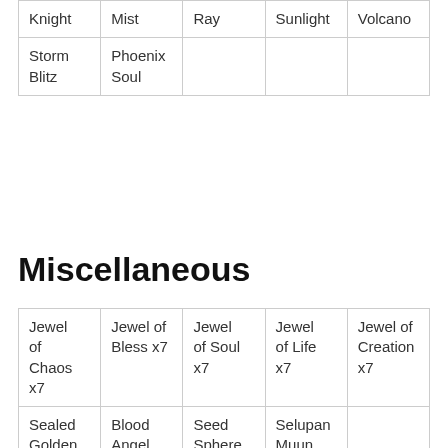| Knight | Mist | Ray | Sunlight | Volcano |
| Storm
Blitz | Phoenix
Soul |  |  |  |
Miscellaneous
| Jewel of Chaos x7 | Jewel of Bless x7 | Jewel of Soul x7 | Jewel of Life x7 | Jewel of Creation x7 |
| Sealed Golden | Blood Angel Chaos Guild | Seed Sphere | Selupan Muun |  |